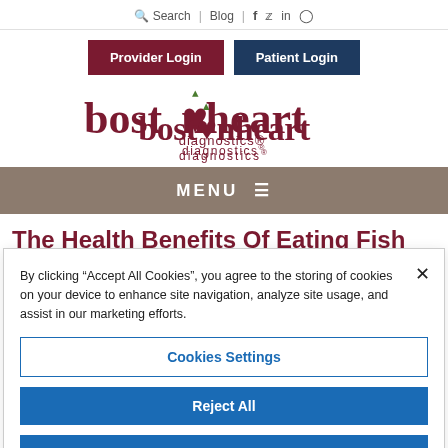Search | Blog | f  in
Provider Login | Patient Login
[Figure (logo): Boston Heart Diagnostics logo with stylized heart and green leaf in the letter 'o', text reads 'bostonheart diagnostics']
MENU ≡
The Health Benefits Of Eating Fish
By clicking "Accept All Cookies", you agree to the storing of cookies on your device to enhance site navigation, analyze site usage, and assist in our marketing efforts.
Cookies Settings
Reject All